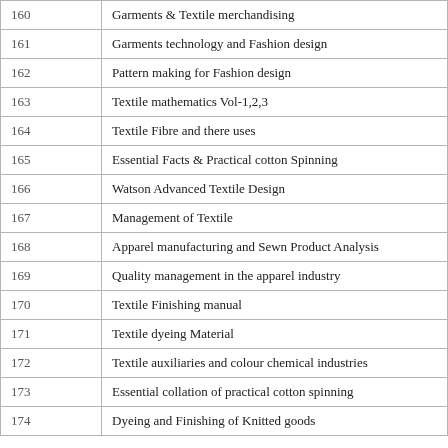| No. | Title |
| --- | --- |
| 160 | Garments & Textile merchandising |
| 161 | Garments technology and Fashion design |
| 162 | Pattern making for Fashion design |
| 163 | Textile mathematics Vol-1,2,3 |
| 164 | Textile Fibre and there uses |
| 165 | Essential Facts & Practical cotton Spinning |
| 166 | Watson Advanced Textile Design |
| 167 | Management of Textile |
| 168 | Apparel manufacturing and Sewn Product Analysis |
| 169 | Quality management in the apparel industry |
| 170 | Textile Finishing manual |
| 171 | Textile dyeing Material |
| 172 | Textile auxiliaries and colour chemical industries |
| 173 | Essential collation of practical cotton spinning |
| 174 | Dyeing and Finishing of Knitted goods |